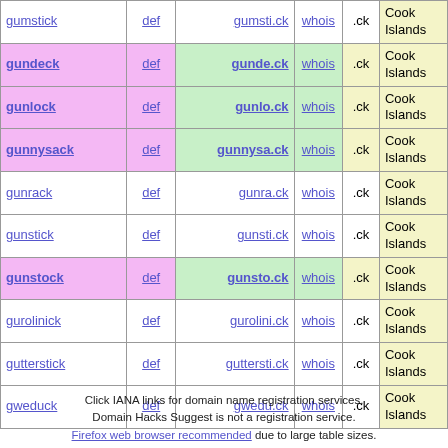| word | def | domain | whois | ext | country |
| --- | --- | --- | --- | --- | --- |
| gumstick | def | gumsti.ck | whois | .ck | Cook Islands |
| gundeck | def | gunde.ck | whois | .ck | Cook Islands |
| gunlock | def | gunlo.ck | whois | .ck | Cook Islands |
| gunnysack | def | gunnysa.ck | whois | .ck | Cook Islands |
| gunrack | def | gunra.ck | whois | .ck | Cook Islands |
| gunstick | def | gunsti.ck | whois | .ck | Cook Islands |
| gunstock | def | gunsto.ck | whois | .ck | Cook Islands |
| gurolinick | def | gurolini.ck | whois | .ck | Cook Islands |
| gutterstick | def | guttersti.ck | whois | .ck | Cook Islands |
| gweduck | def | gwedu.ck | whois | .ck | Cook Islands |
Click IANA links for domain name registration services.
Domain Hacks Suggest is not a registration service.
Firefox web browser recommended due to large table sizes.